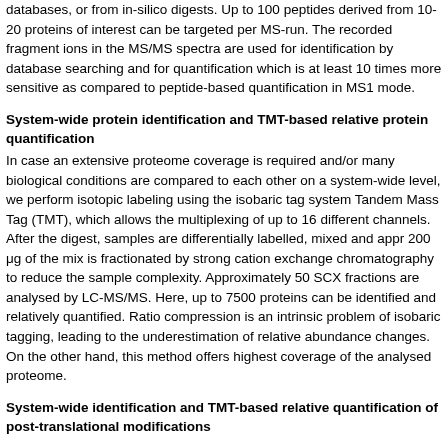databases, or from in-silico digests. Up to 100 peptides derived from 10-20 proteins of interest can be targeted per MS-run. The recorded fragment ions in the MS/MS spectra are used for identification by database searching and for quantification which is at least 10 times more sensitive as compared to peptide-based quantification in MS1 mode.
System-wide protein identification and TMT-based relative protein quantification
In case an extensive proteome coverage is required and/or many biological conditions are compared to each other on a system-wide level, we perform isotopic labeling using the isobaric tag system Tandem Mass Tag (TMT), which allows the multiplexing of up to 16 different channels. After the digest, samples are differentially labelled, mixed and appr 200 μg of the mix is fractionated by strong cation exchange chromatography to reduce the sample complexity. Approximately 50 SCX fractions are analysed by LC-MS/MS. Here, up to 7500 proteins can be identified and relatively quantified. Ratio compression is an intrinsic problem of isobaric tagging, leading to the underestimation of relative abundance changes. On the other hand, this method offers highest coverage of the analysed proteome.
System-wide identification and TMT-based relative quantification of post-translational modifications